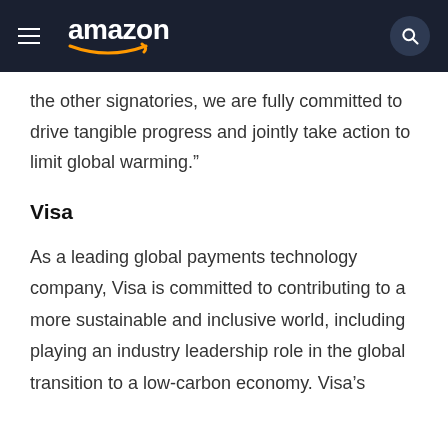amazon
the other signatories, we are fully committed to drive tangible progress and jointly take action to limit global warming.”
Visa
As a leading global payments technology company, Visa is committed to contributing to a more sustainable and inclusive world, including playing an industry leadership role in the global transition to a low-carbon economy. Visa’s